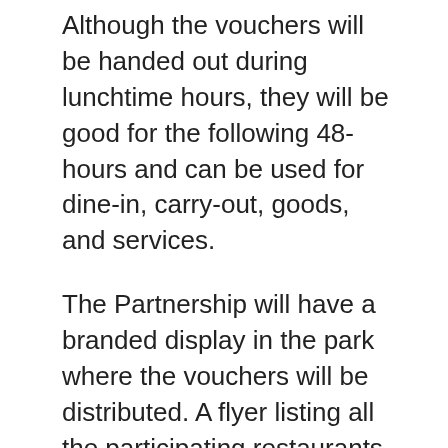Although the vouchers will be handed out during lunchtime hours, they will be good for the following 48-hours and can be used for dine-in, carry-out, goods, and services.
The Partnership will have a branded display in the park where the vouchers will be distributed. A flyer listing all the participating restaurants will also be handed out on-site, or you can visit the project's Facebook event page for a complete listing.
A total of 200 vouchers will be distributed each month.